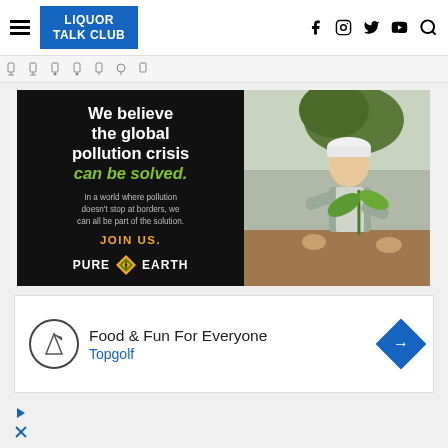LIQUOR TALK CLUB — navigation header with social icons (Facebook, Instagram, Twitter, YouTube, Search)
[Figure (screenshot): Navigation strip with category icons below main header]
[Figure (infographic): Pure Earth advertisement. Black left panel with text: 'We believe the global pollution crisis can be solved. In a world where pollution doesn't stop at borders, we can all be part of the solution. JOIN US. PURE EARTH'. Right panel shows photo of a person in hard hat planting a tree.]
[Figure (infographic): Topgolf advertisement showing logo, text 'Food & Fun For Everyone / Topgolf' and a blue diamond arrow icon.]